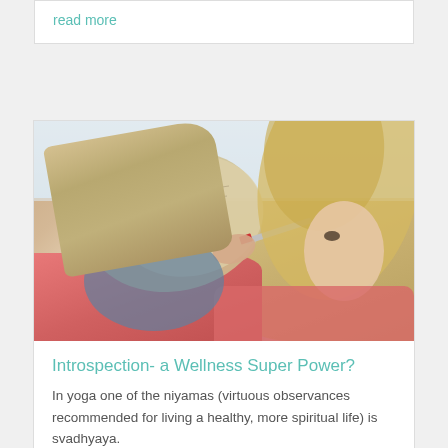read more
[Figure (photo): Woman with blonde hair writing in a notebook with a red pen, wearing a pink shirt, viewed from the side]
Introspection- a Wellness Super Power?
In yoga one of the niyamas (virtuous observances recommended for living a healthy, more spiritual life) is svadhyaya.